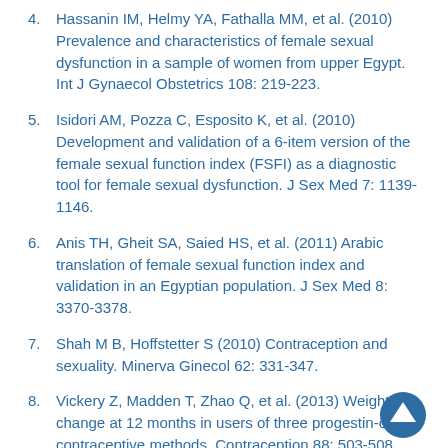4. Hassanin IM, Helmy YA, Fathalla MM, et al. (2010) Prevalence and characteristics of female sexual dysfunction in a sample of women from upper Egypt. Int J Gynaecol Obstetrics 108: 219-223.
5. Isidori AM, Pozza C, Esposito K, et al. (2010) Development and validation of a 6-item version of the female sexual function index (FSFI) as a diagnostic tool for female sexual dysfunction. J Sex Med 7: 1139-1146.
6. Anis TH, Gheit SA, Saied HS, et al. (2011) Arabic translation of female sexual function index and validation in an Egyptian population. J Sex Med 8: 3370-3378.
7. Shah M B, Hoffstetter S (2010) Contraception and sexuality. Minerva Ginecol 62: 331-347.
8. Vickery Z, Madden T, Zhao Q, et al. (2013) Weight change at 12 months in users of three progestin-only contraceptive methods. Contraception 88: 503-508.